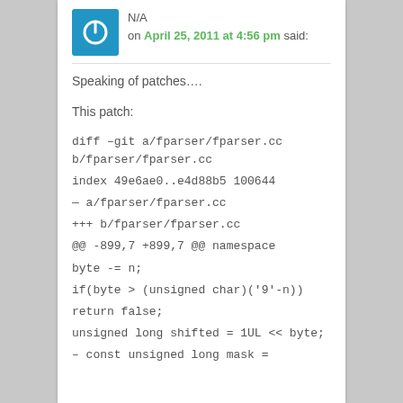[Figure (illustration): Blue square avatar icon with white power/on symbol]
N/A on April 25, 2011 at 4:56 pm said:
Speaking of patches….
This patch:
diff –git a/fparser/fparser.cc b/fparser/fparser.cc
index 49e6ae0..e4d88b5 100644
— a/fparser/fparser.cc
+++ b/fparser/fparser.cc
@@ -899,7 +899,7 @@ namespace
byte -= n;
if(byte > (unsigned char)('9'-n))
return false;
unsigned long shifted = 1UL << byte;
– const unsigned long mask =